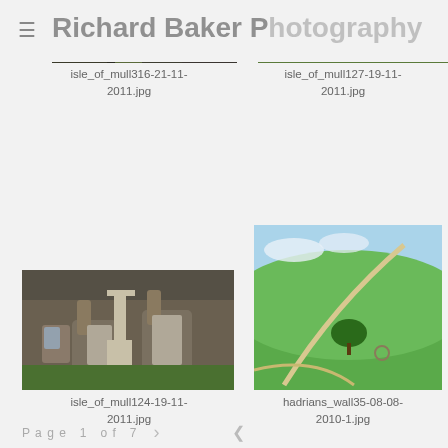≡  Richard Baker Photography
[Figure (photo): Partial view of stone archway with green moss/foliage, top-left thumbnail]
[Figure (photo): Stone wall with grass and bicycle leaning against it, top-right thumbnail]
isle_of_mull316-21-11-2011.jpg
isle_of_mull127-19-11-2011.jpg
[Figure (photo): Stone church exterior with arched windows and stone cross gravemarker in foreground]
[Figure (photo): Green hillside with Hadrian's Wall path and lone tree]
isle_of_mull124-19-11-2011.jpg
hadrians_wall35-08-08-2010-1.jpg
Page 1 of 7  >  <